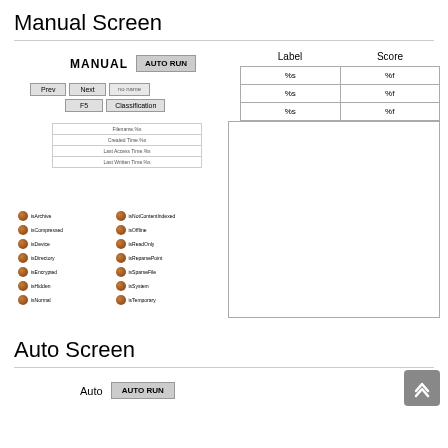Manual Screen
[Figure (screenshot): Manual Screen UI with MANUAL / AUTO RUN buttons, Prev/Next/F5/Classification nav buttons, a file info panel showing Filename, Created Time, Last Access Time, Last Written Time fields, a dot-grid panel listing file type icons (Archive, IsCompressed, IsDevice, IsDirectory, IsEncrypted, IsHidden, IsNormal, IsOffline, IsReadOnly, IsReparsePoint, IsSparseFile, IsSystem, IsTemporary), a Label/Score table with %s/%f placeholder rows, and a large preview box.]
Auto Screen
[Figure (screenshot): Auto Screen UI with Auto label and AUTO RUN button, partially visible at bottom of page.]